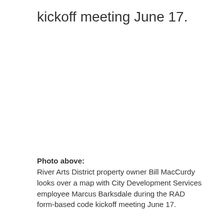kickoff meeting June 17.
Photo above:
River Arts District property owner Bill MacCurdy looks over a map with City Development Services employee Marcus Barksdale during the RAD form-based code kickoff meeting June 17.